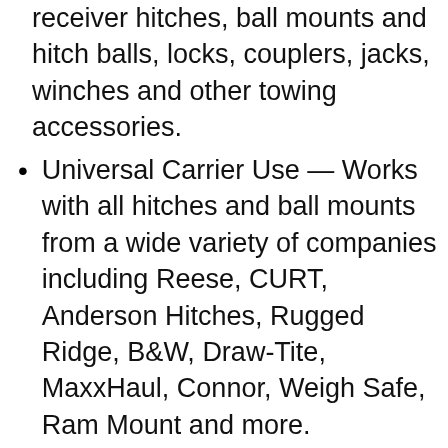receiver hitches, ball mounts and hitch balls, locks, couplers, jacks, winches and other towing accessories.
Universal Carrier Use — Works with all hitches and ball mounts from a wide variety of companies including Reese, CURT, Anderson Hitches, Rugged Ridge, B&W, Draw-Tite, MaxxHaul, Connor, Weigh Safe, Ram Mount and more.
Non-Staining Grease — This hitch ball lubricant is clear and easy to apply. Say goodbye to white and black grease stains. This multi-use, non-melting, waterproof grease is fortified with PTFE, the ultimate in nonstick technology.